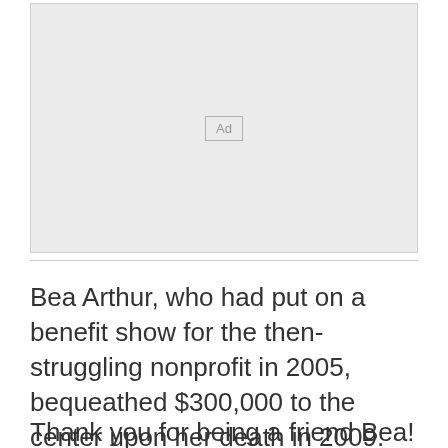[Figure (other): Advertisement placeholder box with 'Ad' label centered inside a light gray rectangle]
Bea Arthur, who had put on a benefit show for the then-struggling nonprofit in 2005, bequeathed $300,000 to the center upon her death in 2009.
Thank you for being a friend Bea!